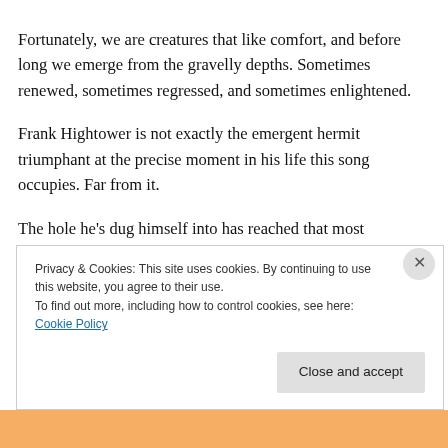Fortunately, we are creatures that like comfort, and before long we emerge from the gravelly depths. Sometimes renewed, sometimes regressed, and sometimes enlightened.
Frank Hightower is not exactly the emergent hermit triumphant at the precise moment in his life this song occupies. Far from it.
The hole he's dug himself into has reached that most paradoxical of happy places — rock bottom.
He's starting to ponder whether maybe, he might just have...
Privacy & Cookies: This site uses cookies. By continuing to use this website, you agree to their use.
To find out more, including how to control cookies, see here: Cookie Policy
Close and accept